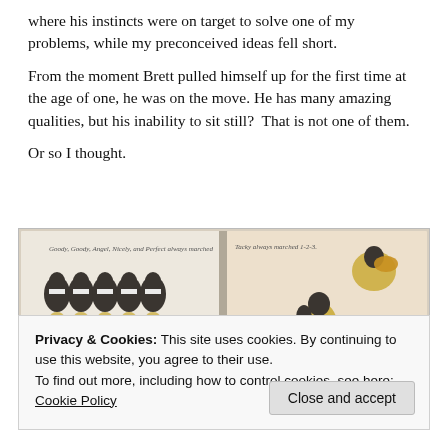where his instincts were on target to solve one of my problems, while my preconceived ideas fell short.
From the moment Brett pulled himself up for the first time at the age of one, he was on the move. He has many amazing qualities, but his inability to sit still?  That is not one of them.
Or so I thought.
[Figure (photo): An open children's picture book showing illustrated penguins marching in a row on the left page with text 'Goody, Goody, Angel, Nicely, and Perfect always marched 1-2-3-4', and on the right page a penguin in a floral outfit running with text 'Tacky always marched 1-2-3' and '4-2']
Privacy & Cookies: This site uses cookies. By continuing to use this website, you agree to their use.
To find out more, including how to control cookies, see here:
Cookie Policy
Close and accept